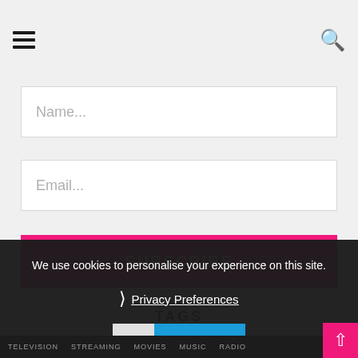☰  🔍
Name...
Email...
SUBSCRIBE
TAGS
We use cookies to personalise your experience on this site.
❯ Privacy Preferences
✓  I Agree